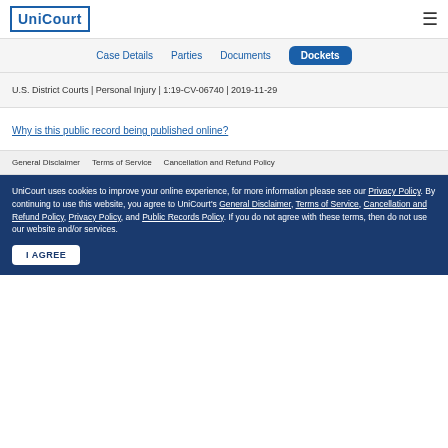UniCourt
Case Details | Parties | Documents | Dockets
U.S. District Courts | Personal Injury | 1:19-CV-06740 | 2019-11-29
Why is this public record being published online?
General Disclaimer   Terms of Service   Cancellation and Refund Policy
UniCourt uses cookies to improve your online experience, for more information please see our Privacy Policy. By continuing to use this website, you agree to UniCourt's General Disclaimer, Terms of Service, Cancellation and Refund Policy, Privacy Policy, and Public Records Policy. If you do not agree with these terms, then do not use our website and/or services.